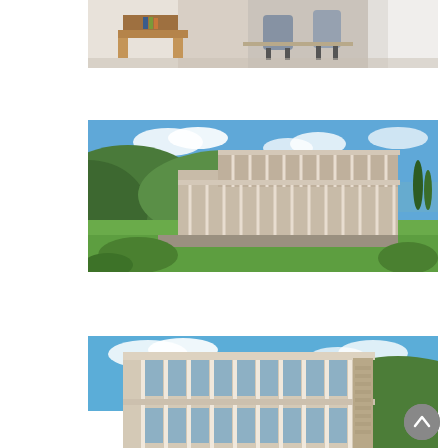[Figure (photo): Interior photo showing a modern room with wooden furniture, a desk/shelf unit on the left and chairs on the right, light-coloured flooring and white walls with curtains]
[Figure (photo): Architectural rendering of a multi-storey modern building with wood and stone facade, open pergola structure, set on a hillside with green hills, lake and blue sky in background]
[Figure (photo): Architectural rendering showing the front facade of the same modern building in closer view with vertical timber fins, stone cladding, blue sky and hillside visible]